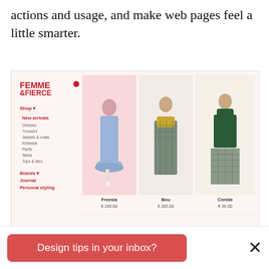actions and usage, and make web pages feel a little smarter.
[Figure (screenshot): Screenshot of the Femme & Fierce fashion e-commerce website showing three women's clothing products: Freesia (€240.00), Bou (€285.00), and Conide (€99.00), with a navigation sidebar on the left.]
via Femme & Fierce
Design tips in your inbox?